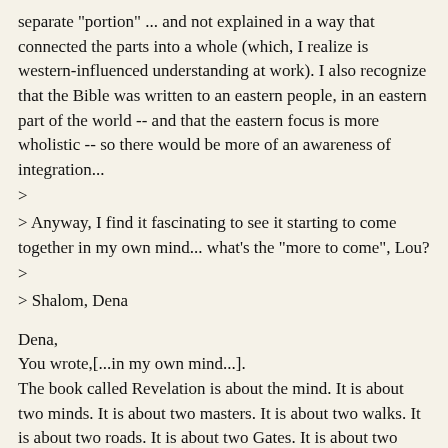separate "portion" ... and not explained in a way that connected the parts into a whole (which, I realize is western-influenced understanding at work). I also recognize that the Bible was written to an eastern people, in an eastern part of the world -- and that the eastern focus is more wholistic -- so there would be more of an awareness of integration...
>
> Anyway, I find it fascinating to see it starting to come together in my own mind... what's the "more to come", Lou?
>
> Shalom, Dena
Dena,
You wrote,[...in my own mind...].
The book called Revelation is about the mind. It is about two minds. It is about two masters. It is about two walks. It is about two roads. It is about two Gates. It is about two desires.
What are these two minds? What are the two masters? How are the two minds controlled by the two masters? The book called Revelation writes about the ways that the masters control the two minds. One mind is led to death and many entertain that mind. And the other